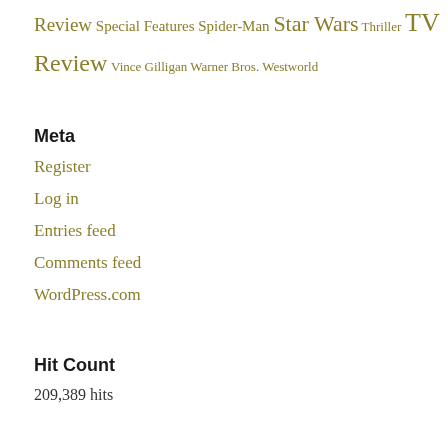Review Special Features Spider-Man Star Wars Thriller TV Review Vince Gilligan Warner Bros. Westworld
Meta
Register
Log in
Entries feed
Comments feed
WordPress.com
Hit Count
209,389 hits